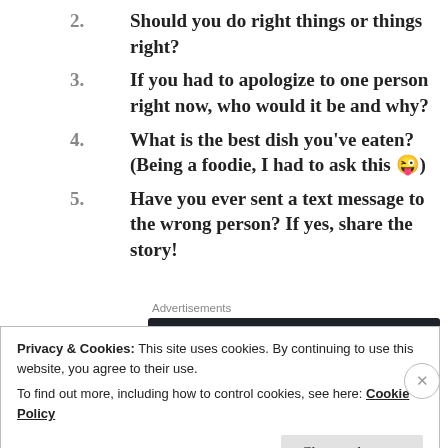2. Should you do right things or things right?
3. If you had to apologize to one person right now, who would it be and why?
4. What is the best dish you've eaten? (Being a foodie, I had to ask this 😜)
5. Have you ever sent a text message to the wrong person? If yes, share the story!
Advertisements
[Figure (screenshot): Advertisement banner: Launch your online course with WordPress, Learn More]
Privacy & Cookies: This site uses cookies. By continuing to use this website, you agree to their use. To find out more, including how to control cookies, see here: Cookie Policy
Close and accept